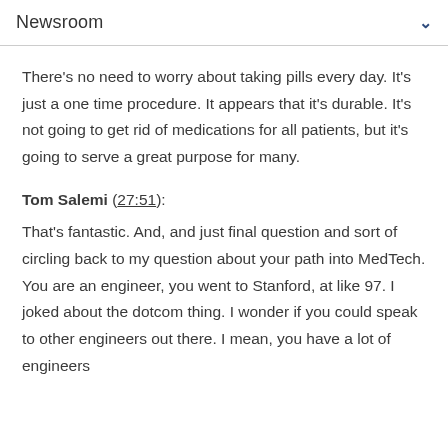Newsroom
There's no need to worry about taking pills every day. It's just a one time procedure. It appears that it's durable. It's not going to get rid of medications for all patients, but it's going to serve a great purpose for many.
Tom Salemi (27:51):
That's fantastic. And, and just final question and sort of circling back to my question about your path into MedTech. You are an engineer, you went to Stanford, at like 97. I joked about the dotcom thing. I wonder if you could speak to other engineers out there. I mean, you have a lot of engineers